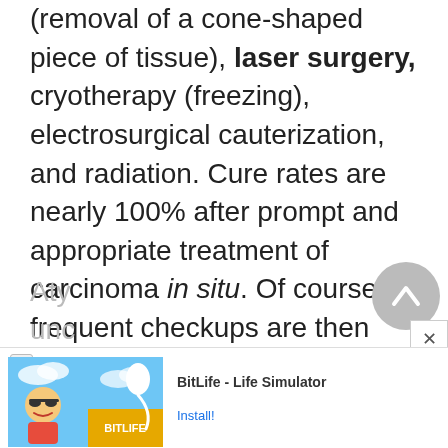(removal of a cone-shaped piece of tissue), laser surgery, cryotherapy (freezing), electrosurgical cauterization, and radiation. Cure rates are nearly 100% after prompt and appropriate treatment of carcinoma in situ. Of course, frequent checkups are then necessary.
In addition to abnormal squamous epithelium, abnormal glandular cells from the endocervix may be found.
Aty... unc... s
[Figure (other): Advertisement banner for BitLife - Life Simulator app with a sperm mascot and cartoon character, showing an Install! button]